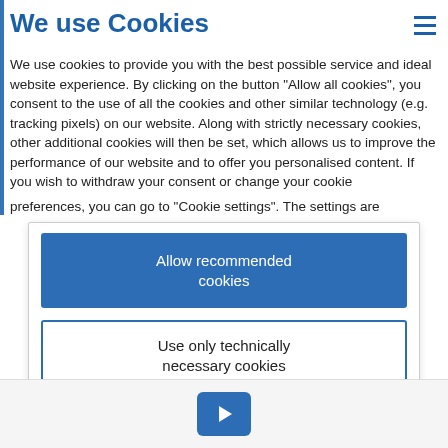We use Cookies
We use cookies to provide you with the best possible service and ideal website experience. By clicking on the button “Allow all cookies”, you consent to the use of all the cookies and other similar technology (e.g. tracking pixels) on our website. Along with strictly necessary cookies, other additional cookies will then be set, which allows us to improve the performance of our website and to offer you personalised content. If you wish to withdraw your consent or change your cookie preferences, you can go to “Cookie settings”. The settings are
Allow recommended cookies
Use only technically necessary cookies
Cookie settings
[Figure (other): Play button for video]